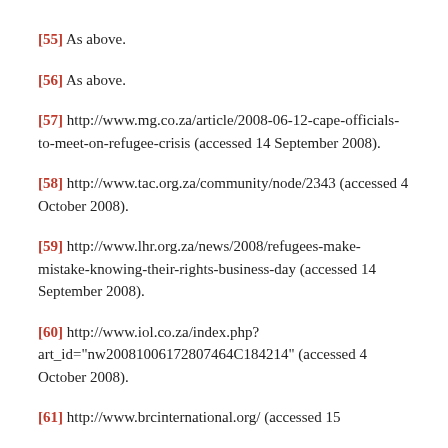[55] As above.
[56] As above.
[57] http://www.mg.co.za/article/2008-06-12-cape-officials-to-meet-on-refugee-crisis (accessed 14 September 2008).
[58] http://www.tac.org.za/community/node/2343 (accessed 4 October 2008).
[59] http://www.lhr.org.za/news/2008/refugees-make-mistake-knowing-their-rights-business-day (accessed 14 September 2008).
[60] http://www.iol.co.za/index.php?art_id="nw20081006172807464C184214" (accessed 4 October 2008).
[61] http://www.brcinternational.org/ (accessed 15